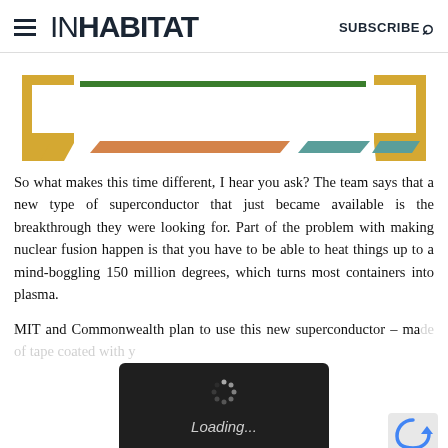INHABITAT  SUBSCRIBE
[Figure (schematic): Partial diagram of a nuclear fusion tokamak device showing gold/yellow bracket-like structures on left and right, a green horizontal line along the top center, an orange parallelogram bar, a teal/blue-green parallelogram bar, and smaller teal shape on right center.]
So what makes this time different, I hear you ask? The team says that a new type of superconductor that just became available is the breakthrough they were looking for. Part of the problem with making nuclear fusion happen is that you have to be able to heat things up to a mind-boggling 150 million degrees, which turns most containers into plasma.
MIT and Commonwealth plan to use this new superconductor – ma[de of tape] coated with [...]
[Figure (screenshot): Black loading overlay with spinning dots and 'Loading...' text in italic, partially covering the bottom text. A reCAPTCHA-style icon appears at bottom right.]